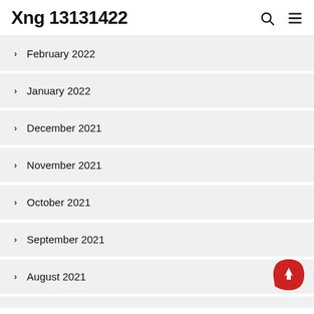Xng 13131422
February 2022
January 2022
December 2021
November 2021
October 2021
September 2021
August 2021